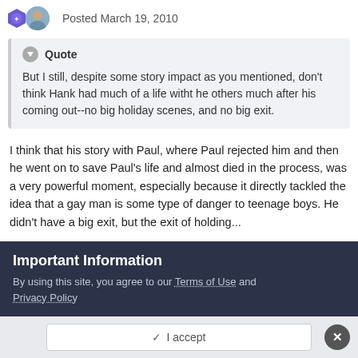Posted March 19, 2010
But I still, despite some story impact as you mentioned, don't think Hank had much of a life witht he others much after his coming out--no big holiday scenes, and no big exit.
I think that his story with Paul, where Paul rejected him and then he went on to save Paul's life and almost died in the process, was a very powerful moment, especially because it directly tackled the idea that a gay man is some type of danger to teenage boys. He didn't have a big exit, but the exit of holding...
Important Information
By using this site, you agree to our Terms of Use and Privacy Policy
✓ I accept